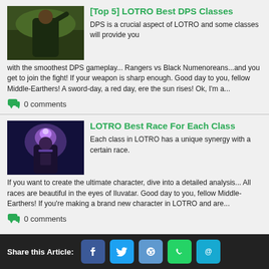[Top 5] LOTRO Best DPS Classes
DPS is a crucial aspect of LOTRO and some classes will provide you with the smoothest DPS gameplay... Rangers vs Black Numenoreans...and you get to join the fight! If your weapon is sharp enough. Good day to you, fellow Middle-Earthers! A sword-day, a red day, ere the sun rises! Ok, I'm a...
0 comments
LOTRO Best Race For Each Class
Each class in LOTRO has a unique synergy with a certain race. If you want to create the ultimate character, dive into a detailed analysis... All races are beautiful in the eyes of Iluvatar. Good day to you, fellow Middle-Earthers! If you're making a brand new character in LOTRO and are...
0 comments
Share this Article: